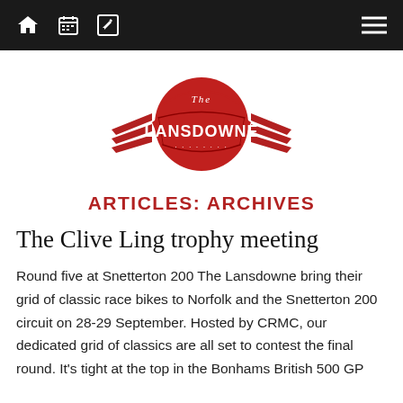Navigation bar with home, calendar, edit icons and hamburger menu
[Figure (logo): The Lansdowne logo — red circular badge with banner reading LANSDOWNE, wings on either side, text THE at top, laurel wreath at bottom]
ARTICLES: ARCHIVES
The Clive Ling trophy meeting
Round five at Snetterton 200 The Lansdowne bring their grid of classic race bikes to Norfolk and the Snetterton 200 circuit on 28-29 September. Hosted by CRMC, our dedicated grid of classics are all set to contest the final round. It's tight at the top in the Bonhams British 500 GP